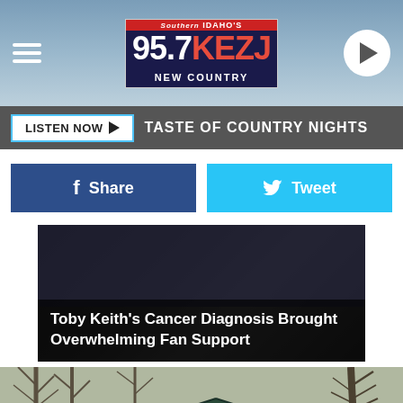[Figure (screenshot): Radio station 95.7 KEZJ website header with logo, hamburger menu, and play button]
LISTEN NOW ▶   TASTE OF COUNTRY NIGHTS
[Figure (screenshot): Facebook Share button and Twitter Tweet button]
[Figure (photo): Article thumbnail: Toby Keith's Cancer Diagnosis Brought Overwhelming Fan Support]
Toby Keith's Cancer Diagnosis Brought Overwhelming Fan Support
[Figure (photo): Photo of a wooden cabin/building with bare trees, a white tank on the left, and machinery on the right]